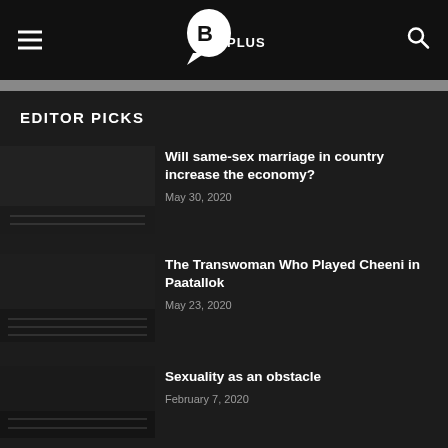PLUS (logo)
EDITOR PICKS
Will same-sex marriage in country increase the economy?
May 30, 2020
The Transwoman Who Played Cheeni in Paatallok
May 23, 2020
Sexuality as an obstacle
February 7, 2020